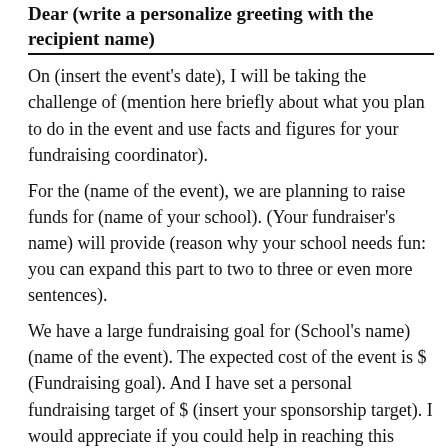Dear (write a personalize greeting with the recipient name)
On (insert the event's date), I will be taking the challenge of (mention here briefly about what you plan to do in the event and use facts and figures for your fundraising coordinator).
For the (name of the event), we are planning to raise funds for (name of your school). (Your fundraiser's name) will provide (reason why your school needs fun: you can expand this part to two to three or even more sentences).
We have a large fundraising goal for (School's name) (name of the event). The expected cost of the event is $ (Fundraising goal). And I have set a personal fundraising target of $ (insert your sponsorship target). I would appreciate if you could help in reaching this target because (here insert the benefit summary or the fundraiser benefit statement).
I have started with a personal donation of $ (insert your amount). And your donation will bring me closer to my goal and help (write the benefit statement about the fundraising event).
As a part of the fundraising we are also holding a (name of the